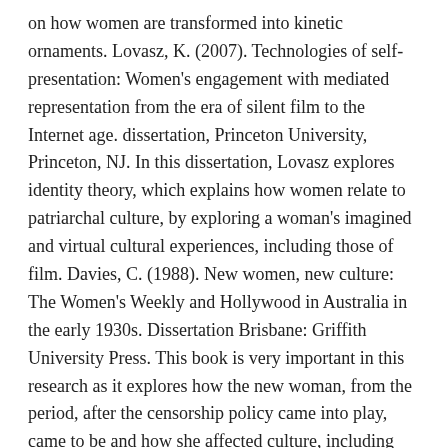on how women are transformed into kinetic ornaments. Lovasz, K. (2007). Technologies of self-presentation: Women's engagement with mediated representation from the era of silent film to the Internet age. dissertation, Princeton University, Princeton, NJ. In this dissertation, Lovasz explores identity theory, which explains how women relate to patriarchal culture, by exploring a woman's imagined and virtual cultural experiences, including those of film. Davies, C. (1988). New women, new culture: The Women's Weekly and Hollywood in Australia in the early 1930s. Dissertation Brisbane: Griffith University Press. This book is very important in this research as it explores how the new woman, from the period, after the censorship policy came into play, came to be and how she affected culture, including how women were portrayed on the silver screen, and it examines how the Hollywood portrayal of women in the 1930s affected women in Australia. Siegel, [icon] (2009). 'Busby Berkeley and the projected stage', Hudson Review, vol. 62, no. 1, pp. 106–114. In this article, Siegel...